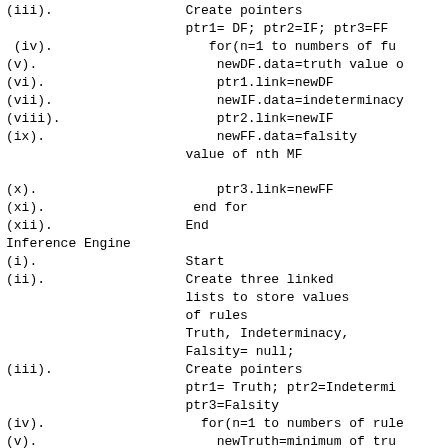(iii).                 Create pointers
                       ptr1= DF; ptr2=IF; ptr3=FF
 (iv).                    for(n=1 to numbers of fu
(v).                       newDF.data=truth value o
(vi).                      ptr1.link=newDF
(vii).                     newIF.data=indeterminacy
(viii).                    ptr2.link=newIF
(ix).                      newFF.data=falsity
                       value of nth MF
(x).                       ptr3.link=newFF
(xi).                   end for
(xii).                 End
Inference Engine
(i).                   Start
(ii).                  Create three linked
                       lists to store values
                       of rules
                       Truth, Indeterminacy,
                       Falsity= null;
(iii).                 Create pointers
                       ptr1= Truth; ptr2=Indetermi
                       ptr3=Falsity
(iv).                    for(n=1 to numbers of rule
(v).                       newTruth=minimum of tru
(vi).                      ptr1.link=newTruth